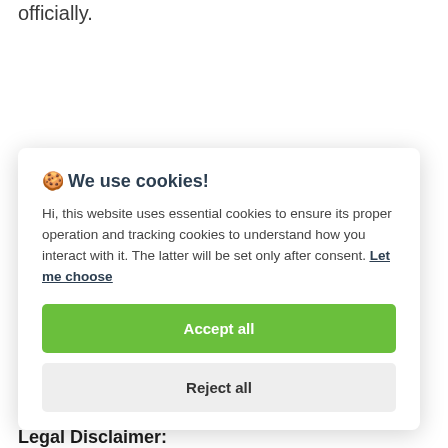officially.
🍪 We use cookies!

Hi, this website uses essential cookies to ensure its proper operation and tracking cookies to understand how you interact with it. The latter will be set only after consent. Let me choose

[Accept all] [Reject all]
Legal Disclaimer: